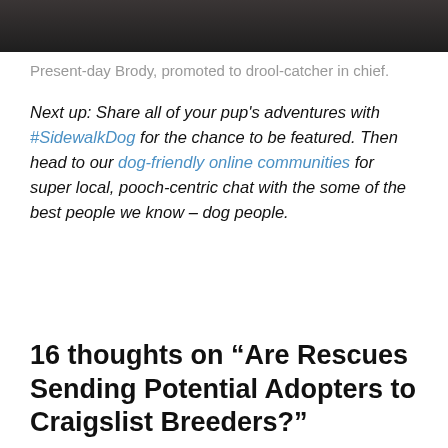[Figure (photo): Dark photo strip showing a dog scene at the top of the page]
Present-day Brody, promoted to drool-catcher in chief.
Next up: Share all of your pup's adventures with #SidewalkDog for the chance to be featured. Then head to our dog-friendly online communities for super local, pooch-centric chat with the some of the best people we know – dog people.
16 thoughts on “Are Rescues Sending Potential Adopters to Craigslist Breeders?”